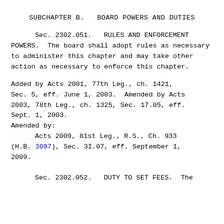SUBCHAPTER B.  BOARD POWERS AND DUTIES
Sec. 2302.051.  RULES AND ENFORCEMENT POWERS.  The board shall adopt rules as necessary to administer this chapter and may take other action as necessary to enforce this chapter.
Added by Acts 2001, 77th Leg., ch. 1421, Sec. 5, eff. June 1, 2003.  Amended by Acts 2003, 78th Leg., ch. 1325, Sec. 17.05, eff. Sept. 1, 2003.
Amended by:
        Acts 2009, 81st Leg., R.S., Ch. 933 (H.B. 3097), Sec. 3I.07, eff. September 1, 2009.
Sec. 2302.052.  DUTY TO SET FEES.  The